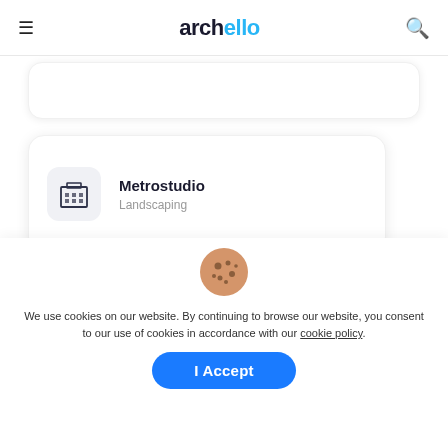archello
[Figure (other): Partial company card clipped at top of page]
Metrostudio
Landscaping
ZHUBO Design Group
Architects, Engineer
[Figure (illustration): Cookie emoji icon]
We use cookies on our website. By continuing to browse our website, you consent to our use of cookies in accordance with our cookie policy.
I Accept